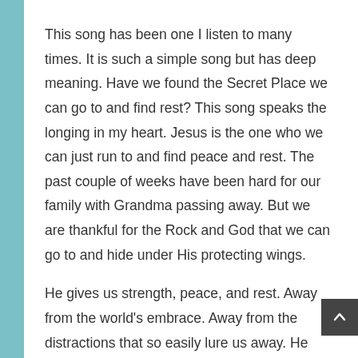This song has been one I listen to many times. It is such a simple song but has deep meaning. Have we found the Secret Place we can go to and find rest? This song speaks the longing in my heart. Jesus is the one who we can just run to and find peace and rest. The past couple of weeks have been hard for our family with Grandma passing away. But we are thankful for the Rock and God that we can go to and hide under His protecting wings.
He gives us strength, peace, and rest. Away from the world's embrace. Away from the distractions that so easily lure us away. He can help us face each new day.